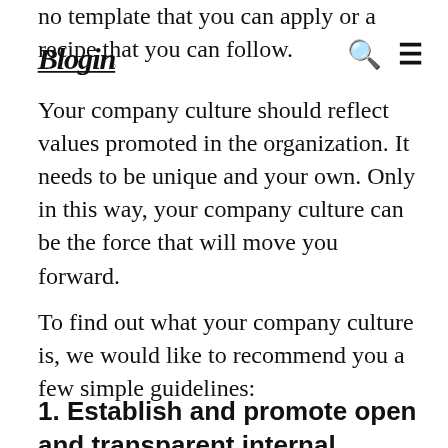no template that you can apply or a recipe that you can follow.
[Figure (logo): Blogin logo in handwritten/script style]
Your company culture should reflect values promoted in the organization. It needs to be unique and your own. Only in this way, your company culture can be the force that will move you forward.
To find out what your company culture is, we would like to recommend you a few simple guidelines:
1. Establish and promote open and transparent internal communication